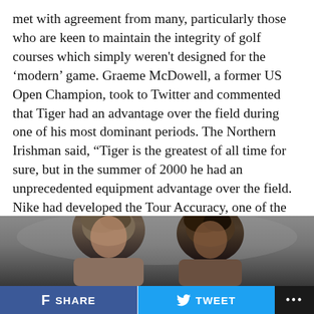met with agreement from many, particularly those who are keen to maintain the integrity of golf courses which simply weren't designed for the 'modern' game. Graeme McDowell, a former US Open Champion, took to Twitter and commented that Tiger had an advantage over the field during one of his most dominant periods. The Northern Irishman said, “Tiger is the greatest of all time for sure, but in the summer of 2000 he had an unprecedented equipment advantage over the field. Nike had developed the Tour Accuracy, one of the first solid core golf balls, pre cursor to the Pro V1. Early adoption and huge leaps.”
[Figure (photo): Two men photographed from approximately shoulder height up, one older with gray-brown hair on the left, one younger with dark hair on the right, against a blurred dark background.]
SHARE   TWEET   ...